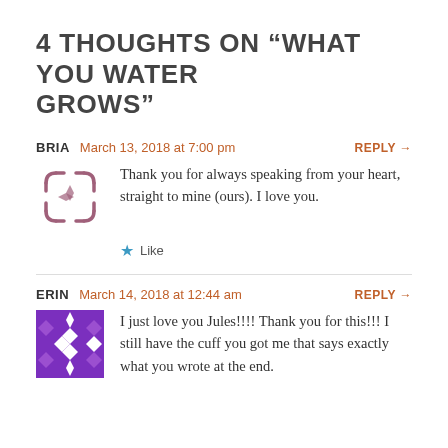4 THOUGHTS ON “WHAT YOU WATER GROWS”
BRIA   March 13, 2018 at 7:00 pm   REPLY →
Thank you for always speaking from your heart, straight to mine (ours). I love you.
★ Like
ERIN   March 14, 2018 at 12:44 am   REPLY →
I just love you Jules!!!! Thank you for this!!! I still have the cuff you got me that says exactly what you wrote at the end.